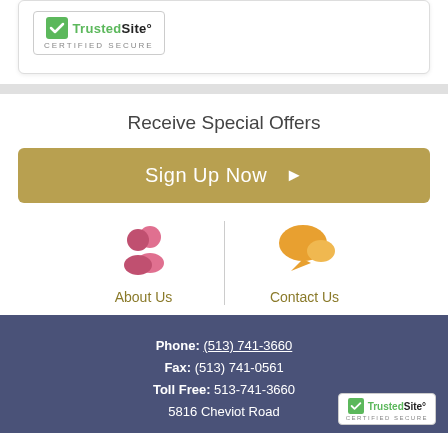[Figure (logo): TrustedSite Certified Secure badge with green checkmark]
Receive Special Offers
Sign Up Now ▶
[Figure (illustration): Pink people/users icon representing About Us]
About Us
[Figure (illustration): Orange chat/speech bubble icon representing Contact Us]
Contact Us
Phone: (513) 741-3660
Fax: (513) 741-0561
Toll Free: 513-741-3660
5816 Cheviot Road
[Figure (logo): TrustedSite badge in footer bottom right corner]